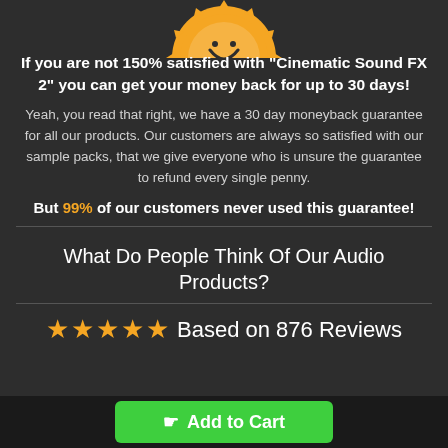[Figure (illustration): Gold gear/badge icon (partial, top half visible) on dark background]
If you are not 150% satisfied with "Cinematic Sound FX 2" you can get your money back for up to 30 days!
Yeah, you read that right, we have a 30 day moneyback guarantee for all our products. Our customers are always so satisfied with our sample packs, that we give everyone who is unsure the guarantee to refund every single penny.
But 99% of our customers never used this guarantee!
What Do People Think Of Our Audio Products?
★★★★★  Based on 876 Reviews
☛ Add to Cart